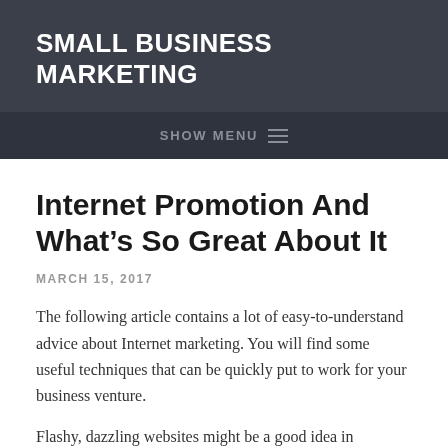SMALL BUSINESS MARKETING
SHOW MENU
Internet Promotion And What’s So Great About It
MARCH 15, 2017
The following article contains a lot of easy-to-understand advice about Internet marketing. You will find some useful techniques that can be quickly put to work for your business venture.
Flashy, dazzling websites might be a good idea in